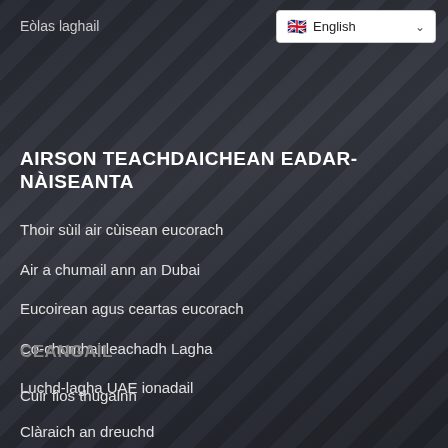Eòlas laghail
[Figure (screenshot): Language selector dropdown showing English with UK flag]
AIRSON TEACHDAICHEAN EADAR-NÀISEANTA
Thoir sùil air cùisean eucorach
Air a chumail ann an Dubai
Eucoirean agus ceartas eucorach
Co-chomhairleachadh Lagha
Luchd-lagha UAE ionadail
CEANGAIL
Cuir fios thugainn
Clàraich an dreuchd